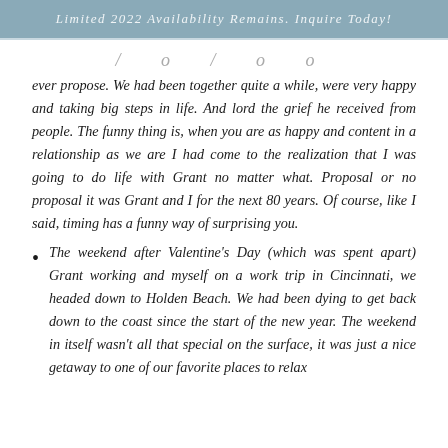Limited 2022 Availability Remains. Inquire Today!
ever propose. We had been together quite a while, were very happy and taking big steps in life. And lord the grief he received from people. The funny thing is, when you are as happy and content in a relationship as we are I had come to the realization that I was going to do life with Grant no matter what. Proposal or no proposal it was Grant and I for the next 80 years. Of course, like I said, timing has a funny way of surprising you.
The weekend after Valentine's Day (which was spent apart) Grant working and myself on a work trip in Cincinnati, we headed down to Holden Beach. We had been dying to get back down to the coast since the start of the new year. The weekend in itself wasn't all that special on the surface, it was just a nice getaway to one of our favorite places to relax